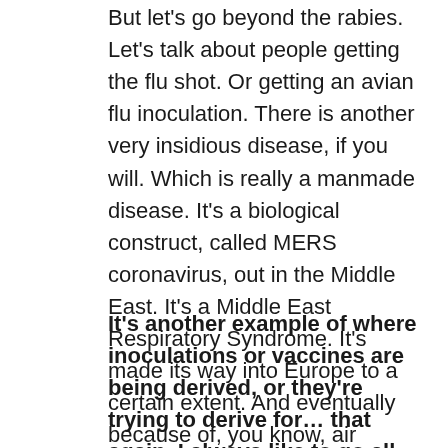But let's go beyond the rabies. Let's talk about people getting the flu shot. Or getting an avian flu inoculation. There is another very insidious disease, if you will. Which is really a manmade disease. It's a biological construct, called MERS coronavirus, out in the Middle East. It's a Middle East Respiratory Syndrome. It's made its way into Europe to a certain extent. And eventually because of, you know, air travel, it will reach around the world.
It's another example of where inoculations or vaccines are being derived, or they're trying to derive for… that again, I always like to go all the way to the end. What's the purpose? What's the goal? If you have a manmade – a man made or